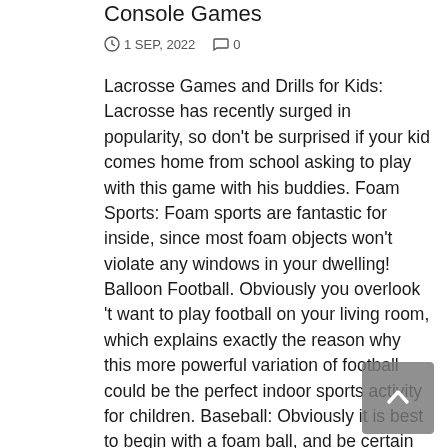Console Games
1 SEP, 2022   0
Lacrosse Games and Drills for Kids: Lacrosse has recently surged in popularity, so don't be surprised if your kid comes home from school asking to play with this game with his buddies. Foam Sports: Foam sports are fantastic for inside, since most foam objects won't violate any windows in your dwelling! Balloon Football. Obviously you overlook 't want to play football on your living room, which explains exactly the reason why this more powerful variation of football could be the perfect indoor sports activity for children. Baseball: Obviously it is best to begin with a foam ball, and be certain there was enough room round the pitcher in order that they don't accidentally wack anyone! 3 -- Utilize the registry cleaning gear: From time to time there occur